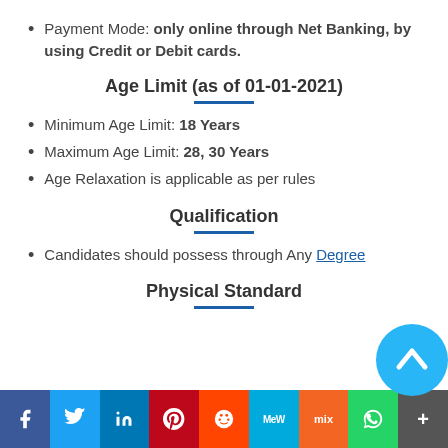Payment Mode: only online through Net Banking, by using Credit or Debit cards.
Age Limit (as of 01-01-2021)
Minimum Age Limit: 18 Years
Maximum Age Limit: 28, 30 Years
Age Relaxation is applicable as per rules
Qualification
Candidates should possess through Any Degree
Physical Standard
Social share bar: Facebook, Twitter, LinkedIn, Pinterest, Reddit, MeWe, Mix, WhatsApp, More